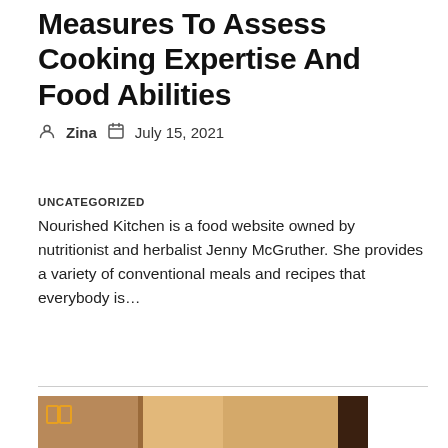Measures To Assess Cooking Expertise And Food Abilities
Zina  July 15, 2021
UNCATEGORIZED
Nourished Kitchen is a food website owned by nutritionist and herbalist Jenny McGruther. She provides a variety of conventional meals and recipes that everybody is...
[Figure (photo): Photograph of people near arched columns in a building with warm orange/tan walls, with a book icon overlay in the top left corner.]